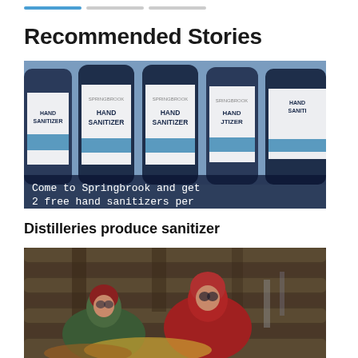Recommended Stories
[Figure (photo): Row of blue Springbrook Hand Sanitizer bottles on a shelf with text overlay: 'Come to Springbrook and get 2 free hand sanitizers per']
Distilleries produce sanitizer
[Figure (photo): Two people in heavy winter jackets (one green, one red) sitting inside a rustic log cabin shelter]